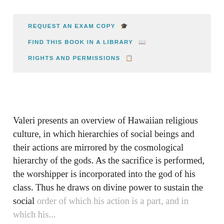REQUEST AN EXAM COPY 🎓
FIND THIS BOOK IN A LIBRARY 📖
RIGHTS AND PERMISSIONS 📋
Valeri presents an overview of Hawaiian religious culture, in which hierarchies of social beings and their actions are mirrored by the cosmological hierarchy of the gods. As the sacrifice is performed, the worshipper is incorporated into the god of his class. Thus he draws on divine power to sustain the social order of which his action is a part, and in which his...